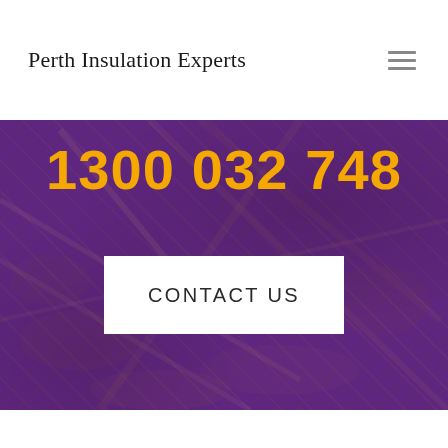Perth Insulation Experts
[Figure (screenshot): Hero section with purple-overlaid photo of insulation material. Large orange phone number '1300 032 748' displayed prominently. White button with 'CONTACT US' text centered below.]